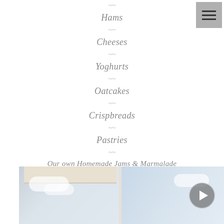Hams
Cheeses
Yoghurts
Oatcakes
Crispbreads
Pastries
Our own Homemade Jams & Marmalade
[Figure (photo): Window with blind showing sky and clouds, with a video play button overlay]